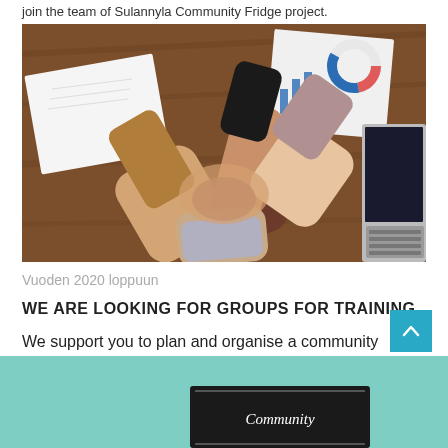join the team of Sulannyla Community Fridge project.
[Figure (photo): Overhead view of multiple people stacking hands together on a wooden desk with notebooks, charts, and a laptop visible around them — a team cooperation gesture.]
Vuoden 2020 loppuun
WE ARE LOOKING FOR GROUPS FOR TRAINING
We support you to plan and organise a community fridge project.
[Figure (photo): Bottom partial image showing a mint/teal green background with a dark sign displaying 'Community' text in white.]